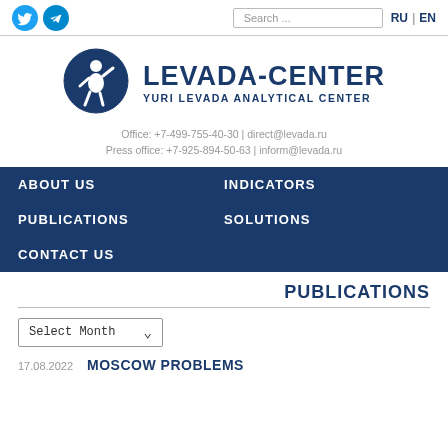[Figure (logo): Social media icons: Twitter (blue bird) and Telegram (paper plane)]
Search ... | RU | EN
[Figure (logo): Levada-Center circular logo with stylized human figure]
LEVADA-CENTER
YURI LEVADA ANALYTICAL CENTER
Office: +7-499-755-40-30 | direct@levada.ru
Press office: +7-925-894-50-63 | inform@levada.ru
ABOUT US
INDICATORS
PUBLICATIONS
SOLUTIONS
CONTACT US
PUBLICATIONS
Select Month
17.08.2022   MOSCOW PROBLEMS